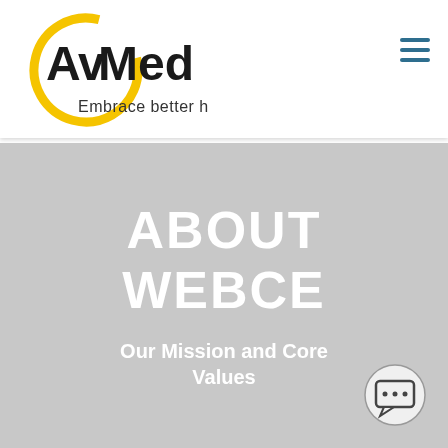[Figure (logo): AvMed logo with yellow circular arc and tagline 'Embrace better health.']
ABOUT WEBCE
Our Mission and Core Values